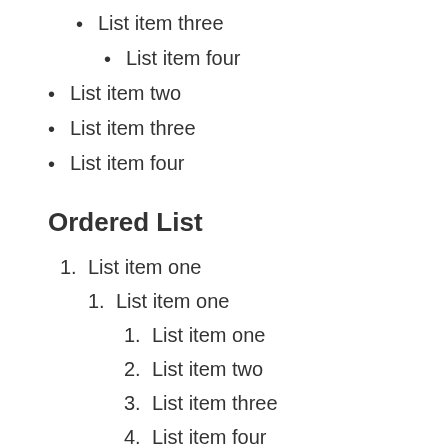List item three
List item four
List item two
List item three
List item four
Ordered List
1. List item one
1. List item one
1. List item one
2. List item two
3. List item three
4. List item four
2. List item two